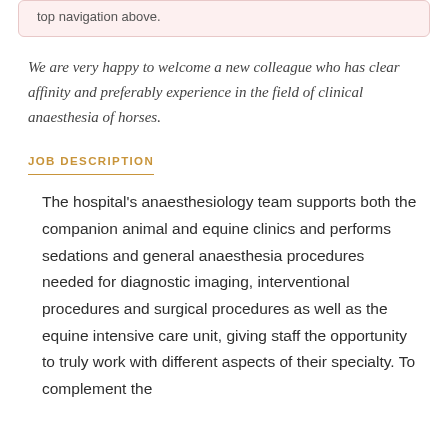top navigation above.
We are very happy to welcome a new colleague who has clear affinity and preferably experience in the field of clinical anaesthesia of horses.
JOB DESCRIPTION
The hospital's anaesthesiology team supports both the companion animal and equine clinics and performs sedations and general anaesthesia procedures needed for diagnostic imaging, interventional procedures and surgical procedures as well as the equine intensive care unit, giving staff the opportunity to truly work with different aspects of their specialty. To complement the